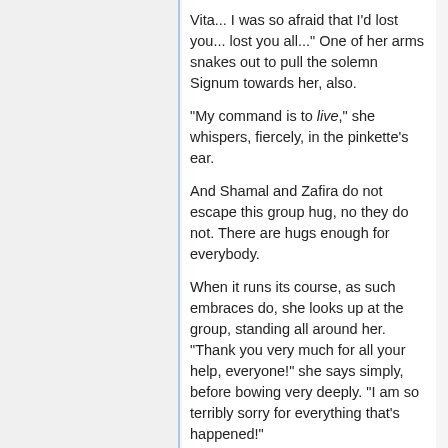Vita... I was so afraid that I'd lost you... lost you all..." One of her arms snakes out to pull the solemn Signum towards her, also.
"My command is to live," she whispers, fiercely, in the pinkette's ear.
And Shamal and Zafira do not escape this group hug, no they do not. There are hugs enough for everybody.
When it runs its course, as such embraces do, she looks up at the group, standing all around her. "Thank you very much for all your help, everyone!" she says simply, before bowing very deeply. "I am so terribly sorry for everything that's happened!"
If only that were the end.
It isn't over.